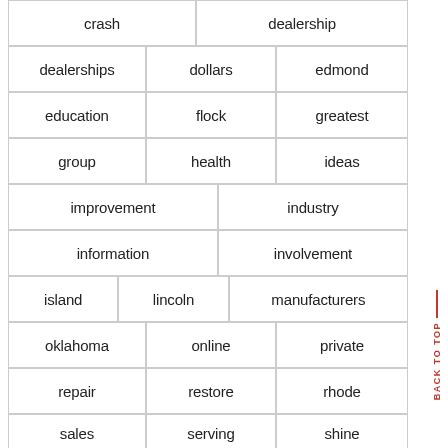| crash | dealership |
| dealerships | dollars | edmond |
| education | flock | greatest |
| group | health | ideas |
| improvement | industry |
| information | involvement |
| island | lincoln | manufacturers |
| oklahoma | online | private |
| repair | restore | rhode |
| sales | serving | shine |